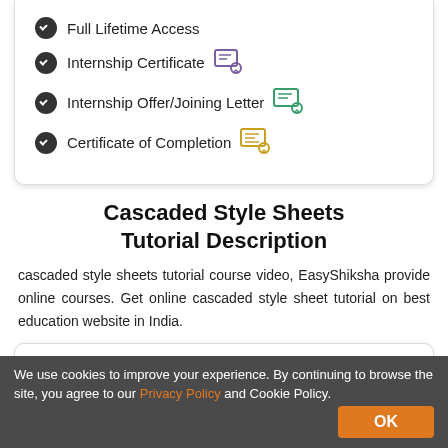Full Lifetime Access
Internship Certificate
Internship Offer/Joining Letter
Certificate of Completion
Cascaded Style Sheets Tutorial Description
cascaded style sheets tutorial course video, EasyShiksha provide online courses. Get online cascaded style sheet tutorial on best education website in India.
We use cookies to improve your experience. By continuing to browse the site, you agree to our Privacy Policy and Cookie Policy.